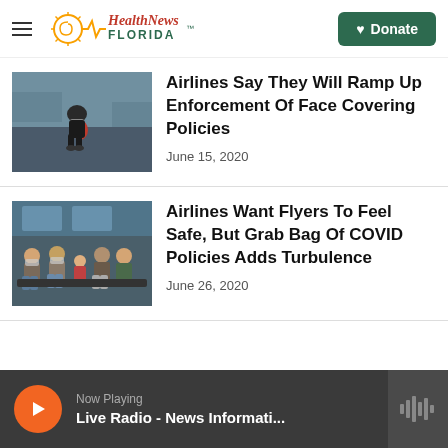Health News Florida — Donate
Airlines Say They Will Ramp Up Enforcement Of Face Covering Policies
June 15, 2020
Airlines Want Flyers To Feel Safe, But Grab Bag Of COVID Policies Adds Turbulence
June 26, 2020
Now Playing — Live Radio - News Informati...